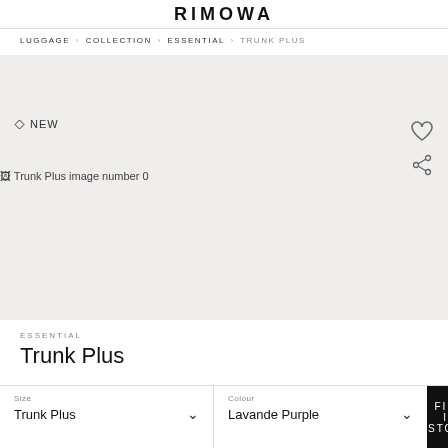RIMOWA
LUGGAGE › COLLECTION › ESSENTIAL › TRUNK PLUS
[Figure (photo): Product image area with NEW badge, heart icon, share icon, and broken image placeholder text 'Trunk Plus image number 0'. Light grey background.]
ESSENTIAL
Trunk Plus
Size: Trunk Plus  Colour: Lavande Purple  FIND IN STORE